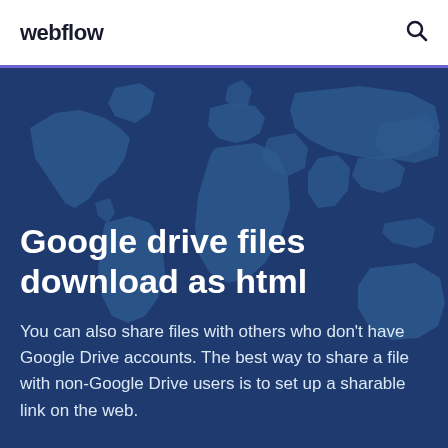webflow
[Figure (illustration): World map silhouette on dark navy/teal background used as hero image]
Google drive files download as html
You can also share files with others who don't have Google Drive accounts. The best way to share a file with non-Google Drive users is to set up a sharable link on the web.